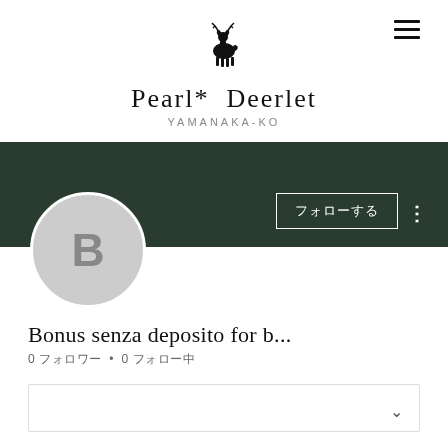[Figure (logo): Small black deer/fawn silhouette logo centered at top]
Pearl* Deerlet
YAMANAKA-KO
[Figure (screenshot): Dark green banner with a follow button labeled フォローする (follow) and a three-dot menu icon]
Bonus senza deposito for b...
0 フォロワー • 0 フォロー中